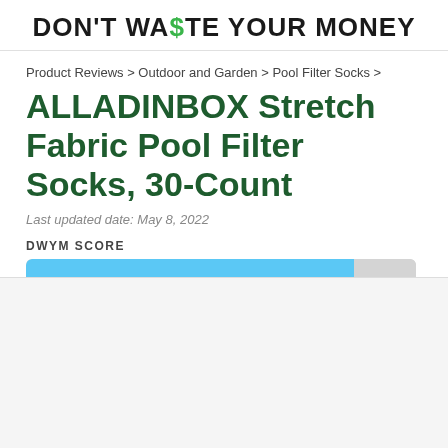DON'T WASTE YOUR MONEY
Product Reviews > Outdoor and Garden > Pool Filter Socks >
ALLADINBOX Stretch Fabric Pool Filter Socks, 30-Count
Last updated date: May 8, 2022
DWYM SCORE
[Figure (bar-chart): DWYM Score]